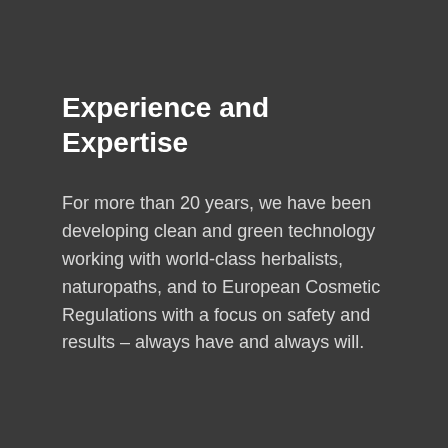Experience and Expertise
For more than 20 years, we have been developing clean and green technology working with world-class herbalists, naturopaths, and to European Cosmetic Regulations with a focus on safety and results – always have and always will.